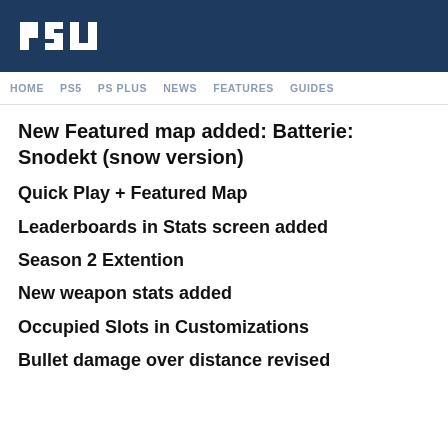PSU
HOME  PS5  PS PLUS  NEWS  FEATURES  GUIDES
New Featured map added: Batterie: Snodekt (snow version)
Quick Play + Featured Map
Leaderboards in Stats screen added
Season 2 Extention
New weapon stats added
Occupied Slots in Customizations
Bullet damage over distance revised